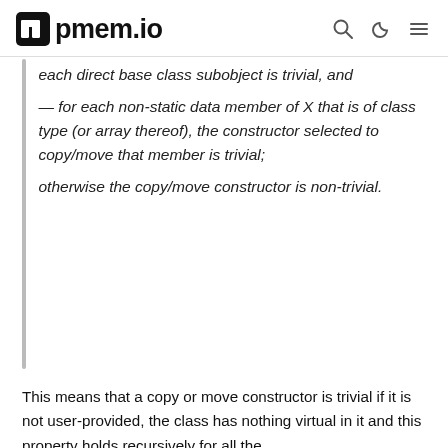pmem.io
each direct base class subobject is trivial, and
— for each non-static data member of X that is of class type (or array thereof), the constructor selected to copy/move that member is trivial;
otherwise the copy/move constructor is non-trivial.
This means that a copy or move constructor is trivial if it is not user-provided, the class has nothing virtual in it and this property holds recursively for all the